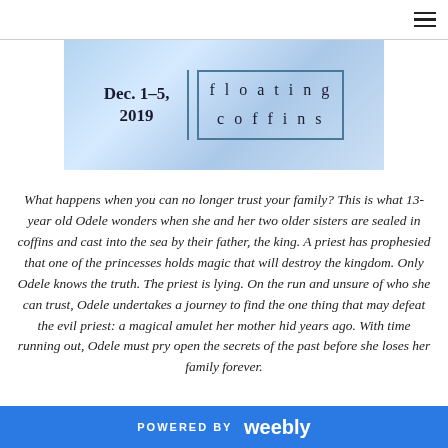[Figure (illustration): Banner image for 'floating coffins' book promotion showing Dec. 1-5, 2019 dates on the left with a decorative divider and 'floating coffins' text in a border on the right, set against a sparkly blue/silver background.]
What happens when you can no longer trust your family? This is what 13-year old Odele wonders when she and her two older sisters are sealed in coffins and cast into the sea by their father, the king. A priest has prophesied that one of the princesses holds magic that will destroy the kingdom. Only Odele knows the truth. The priest is lying. On the run and unsure of who she can trust, Odele undertakes a journey to find the one thing that may defeat the evil priest: a magical amulet her mother hid years ago. With time running out, Odele must pry open the secrets of the past before she loses her family forever.
POWERED BY weebly